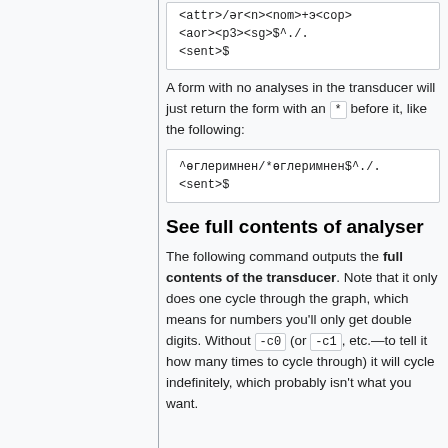<attr>/ər<n><nom>+э<cop><aor><p3><sg>$^./.<sent>$
A form with no analyses in the transducer will just return the form with an * before it, like the following:
^өглеримнен/*өглеримнен$^./.<sent>$
See full contents of analyser
The following command outputs the full contents of the transducer. Note that it only does one cycle through the graph, which means for numbers you'll only get double digits. Without -c0 (or -c1, etc.—to tell it how many times to cycle through) it will cycle indefinitely, which probably isn't what you want.